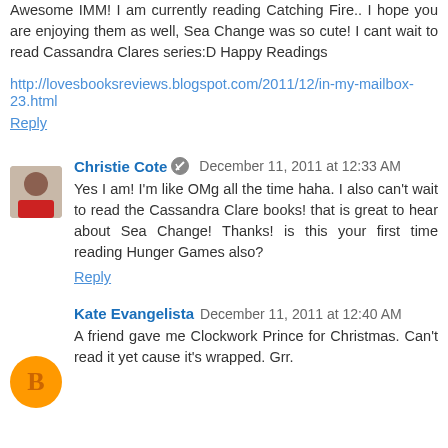Awesome IMM! I am currently reading Catching Fire.. I hope you are enjoying them as well, Sea Change was so cute! I cant wait to read Cassandra Clares series:D Happy Readings
http://lovesbooksreviews.blogspot.com/2011/12/in-my-mailbox-23.html
Reply
Christie Cote  December 11, 2011 at 12:33 AM
Yes I am! I'm like OMg all the time haha. I also can't wait to read the Cassandra Clare books! that is great to hear about Sea Change! Thanks! is this your first time reading Hunger Games also?
Reply
Kate Evangelista  December 11, 2011 at 12:40 AM
A friend gave me Clockwork Prince for Christmas. Can't read it yet cause it's wrapped. Grr.